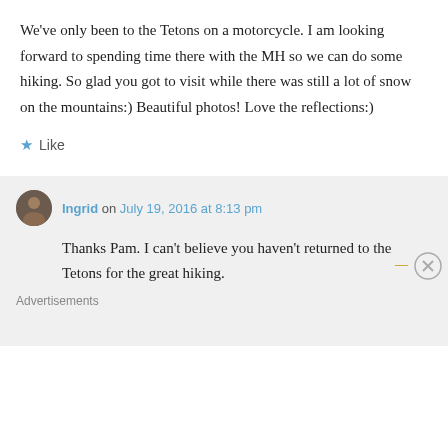We've only been to the Tetons on a motorcycle. I am looking forward to spending time there with the MH so we can do some hiking. So glad you got to visit while there was still a lot of snow on the mountains:) Beautiful photos! Love the reflections:)
★ Like
Ingrid on July 19, 2016 at 8:13 pm
Thanks Pam. I can't believe you haven't returned to the Tetons for the great hiking.
Advertisements